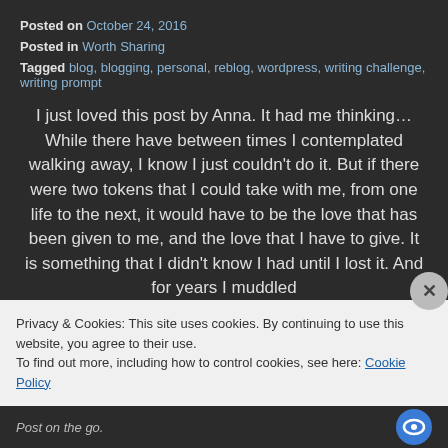Posted on October 24, 2016
Posted in Worth Sharing
Tagged blog, blogging, personal, reblog, wordpress, writing challenge, writing prompt
I just loved this post by Anna. It had me thinking…While there have between times I contemplated walking away, I know I just couldn't do it. But if there were two tokens that I could take with me, from one life to the next, it would have to be the love that has been given to me, and the love that I have to give. It is something that I didn't know I had until I lost it. And for years I muddled
Privacy & Cookies: This site uses cookies. By continuing to use this website, you agree to their use.
To find out more, including how to control cookies, see here: Cookie Policy
Close and accept
Post on the go.